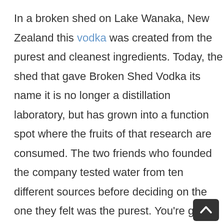In a broken shed on Lake Wanaka, New Zealand this vodka was created from the purest and cleanest ingredients. Today, the shed that gave Broken Shed Vodka its name it is no longer a distillation laboratory, but has grown into a function spot where the fruits of that research are consumed. The two friends who founded the company tested water from ten different sources before deciding on the one they felt was the purest. You're going to be impressed.
What is whey?
Whey (aka Milk Honey) is the creamy byproduct of the manufacture of cheese often used by bodybuilders as a protein supplement. For centuries, it has been consumed.